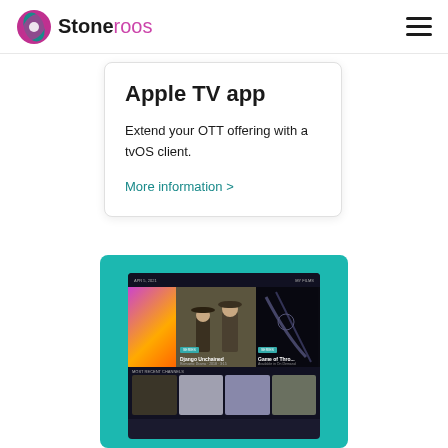Stoneroos
Apple TV app
Extend your OTT offering with a tvOS client.
More information >
[Figure (screenshot): Screenshot of a TV streaming app interface showing movie thumbnails including Django Unchained and Game of Thrones on a teal background]